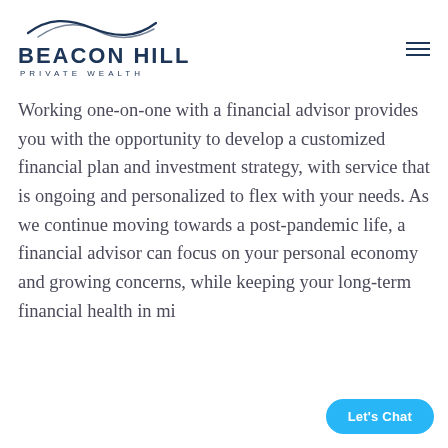[Figure (logo): Beacon Hill Private Wealth logo with wave graphic above company name]
Working one-on-one with a financial advisor provides you with the opportunity to develop a customized financial plan and investment strategy, with service that is ongoing and personalized to flex with your needs. As we continue moving towards a post-pandemic life, a financial advisor can focus on your personal economy and growing concerns, while keeping your long-term financial health in mind.